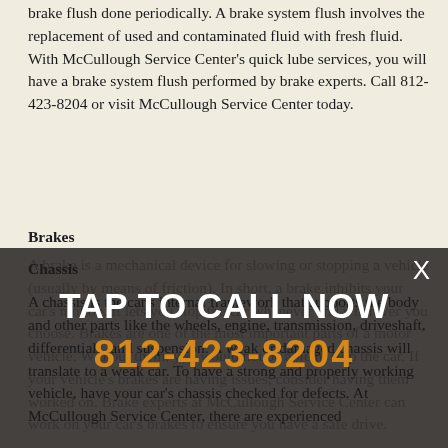brake flush done periodically. A brake system flush involves the replacement of used and contaminated fluid with fresh fluid. With McCullough Service Center's quick lube services, you will have a brake system flush performed by brake experts. Call 812-423-8204 or visit McCullough Service Center today.
Brakes
A brake is a mechanical device for slowing or stopping a vehicle (usually by means of friction). In short, a brake inhibits your car's motion. It lets you stop the car whenever and wherever you choose. Brakes are one of the most important parts of a motor vehicle. Without them, you would not be able to stop the car. If your vehicle's brakes are having issues, consider having them worked on. Brake experts at McCullough Service Center can work on your car's brakes to ensure you have a safe drive.
Chassis
A chassis is the car's internal framework that supports the body and other parts like the wheels, engine, transmission, driveshaft, differentials, and suspension. A weak or damaged chassis will translate to a weak car. To have a strong and properly working vehicle, have your car's chassis checked for defects. At McCullough Service Center, there are experienced
TAP TO CALL NOW
812-423-8204